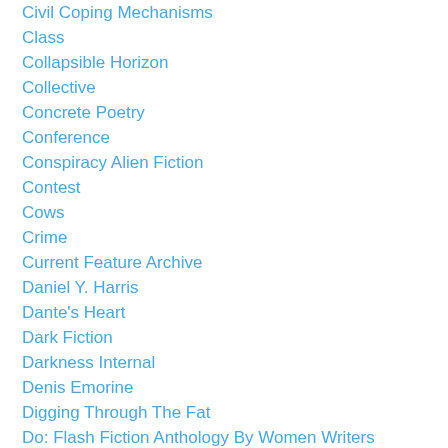Civil Coping Mechanisms
Class
Collapsible Horizon
Collective
Concrete Poetry
Conference
Conspiracy Alien Fiction
Contest
Cows
Crime
Current Feature Archive
Daniel Y. Harris
Dante's Heart
Dark Fiction
Darkness Internal
Denis Emorine
Digging Through The Fat
Do: Flash Fiction Anthology By Women Writers
Dog Horn Publishing
Don Campau
Dorothy Barinov